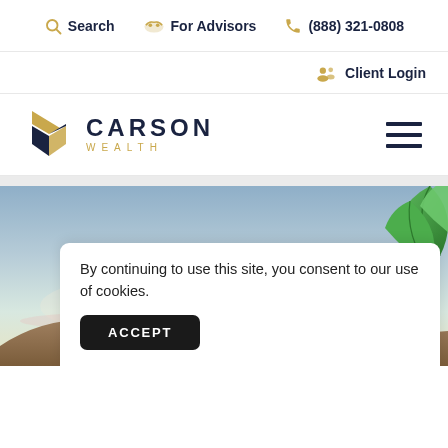Search | For Advisors | (888) 321-0808
Client Login
[Figure (logo): Carson Wealth logo with geometric chevron mark in gold and navy, company name CARSON WEALTH in navy and gold]
[Figure (photo): Scenic photo of misty hills and sky with green leaves visible at right edge]
By continuing to use this site, you consent to our use of cookies.
ACCEPT